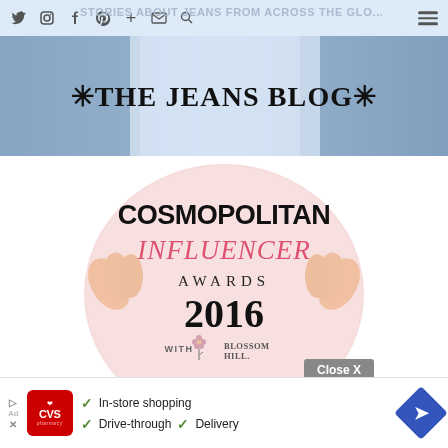STORIES ABOUT JEANS FROM ACROSS THE GLOBE
*THE JEANS BLOG*
[Figure (logo): Cosmopolitan Influencer Awards 2016 with Blossom Hill logo on pink circular background with finger/hand decorations]
Close X
[Figure (screenshot): CVS Pharmacy advertisement banner: In-store shopping, Drive-through, Delivery with navigation arrow icon]